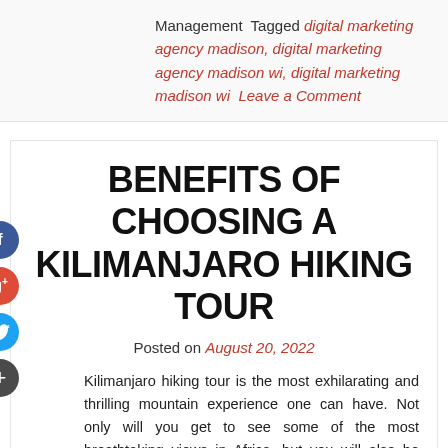Management  Tagged digital marketing agency madison, digital marketing agency madison wi, digital marketing madison wi  Leave a Comment
BENEFITS OF CHOOSING A KILIMANJARO HIKING TOUR
Posted on August 20, 2022
Kilimanjaro hiking tour is the most exhilarating and thrilling mountain experience one can have. Not only will you get to see some of the most breathtaking views in Africa, but you will also be doing some of the most strenuous climbing in the world. The following are the benefits of a Kilimanjaro hiking tour